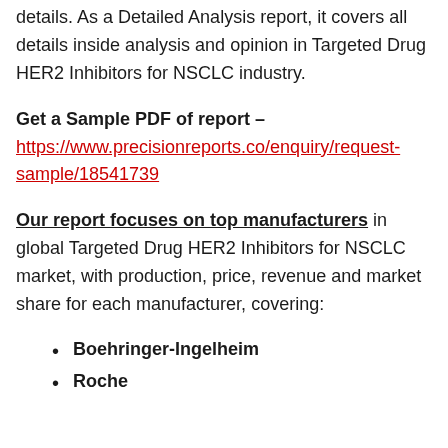details. As a Detailed Analysis report, it covers all details inside analysis and opinion in Targeted Drug HER2 Inhibitors for NSCLC industry.
Get a Sample PDF of report – https://www.precisionreports.co/enquiry/request-sample/18541739
Our report focuses on top manufacturers in global Targeted Drug HER2 Inhibitors for NSCLC market, with production, price, revenue and market share for each manufacturer, covering:
Boehringer-Ingelheim
Roche